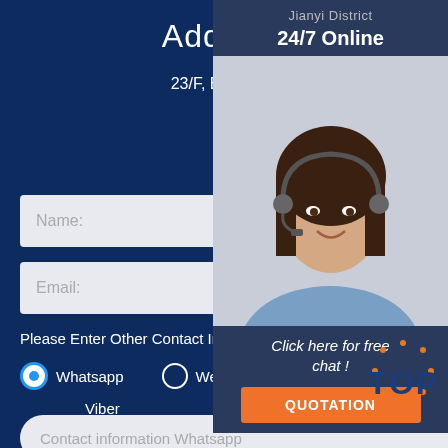Address
23/F, Block B, Yunfeng International, Tianjin Road Jianyi District,
Henan, China
Get Solutions & Quotation
Name:
Email:
Please Enter Other Contact Information
Whatsapp
Wechat
Skype
Viber
Contact information Whatsapp
[Figure (photo): Customer service representative with headset, smiling. Overlay panel showing 24/7 Online, Click here for free chat!, and QUOTATION button.]
24/7 Online
Click here for free chat !
QUOTATION